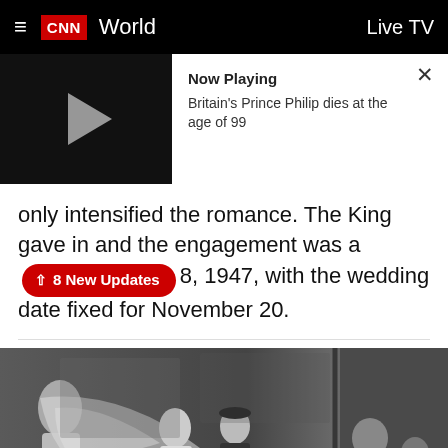CNN World | Live TV
[Figure (screenshot): Video player widget showing 'Now Playing: Britain's Prince Philip dies at the age of 99' with a play button on a black thumbnail and an X close button]
only intensified the romance. The King gave in and the engagement was announced July 8, 1947, with the wedding date fixed for November 20.
[Figure (photo): Black and white photograph of a royal wedding ceremony, showing a bride in a long veil and wedding dress walking with a naval officer, with attendants carrying the veil and dignitaries seated in the background.]